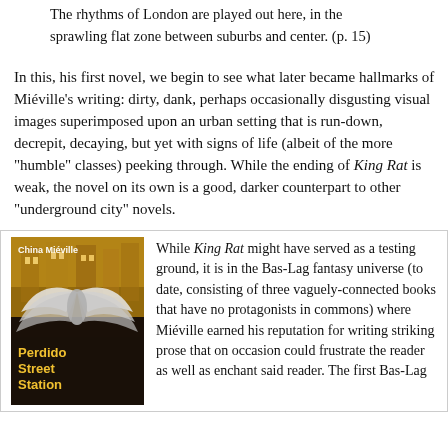The rhythms of London are played out here, in the sprawling flat zone between suburbs and center. (p. 15)
In this, his first novel, we begin to see what later became hallmarks of Miéville's writing: dirty, dank, perhaps occasionally disgusting visual images superimposed upon an urban setting that is run-down, decrepit, decaying, but yet with signs of life (albeit of the more "humble" classes) peeking through. While the ending of King Rat is weak, the novel on its own is a good, darker counterpart to other "underground city" novels.
[Figure (photo): Book cover of 'Perdido Street Station' by China Miéville, showing a winged creature against a dark golden/amber architectural background, with the author name in white at top and title in gold at bottom.]
While King Rat might have served as a testing ground, it is in the Bas-Lag fantasy universe (to date, consisting of three vaguely-connected books that have no protagonists in commons) where Miéville earned his reputation for writing striking prose that on occasion could frustrate the reader as well as enchant said reader. The first Bas-Lag